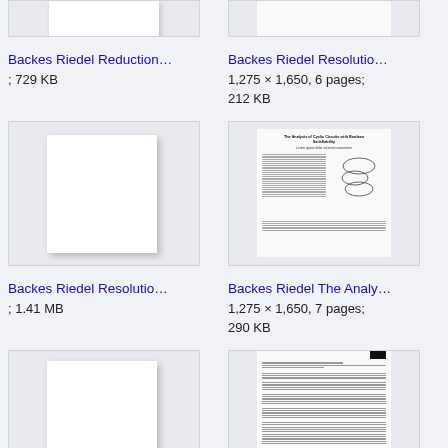[Figure (screenshot): Thumbnail of Backes Riedel Reduction document (white blank page)]
Backes Riedel Reduction…
; 729 KB
[Figure (screenshot): Thumbnail of Backes Riedel Resolution document]
Backes Riedel Resolutio…
1,275 × 1,650, 6 pages; 212 KB
[Figure (screenshot): Thumbnail of Backes Riedel Resolution document (white blank page)]
Backes Riedel Resolutio…
; 1.41 MB
[Figure (screenshot): Thumbnail of Backes Riedel The Analysis document with cyclic circuits figure]
Backes Riedel The Analy…
1,275 × 1,650, 7 pages; 290 KB
[Figure (screenshot): Thumbnail of another Backes Riedel document (white blank page)]
[Figure (screenshot): Thumbnail of another Backes Riedel document with text content]